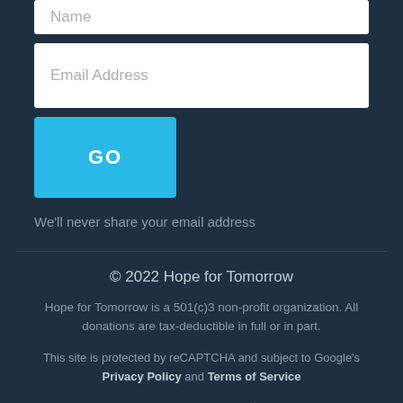[Figure (screenshot): Name input field (text input box with placeholder 'Name')]
[Figure (screenshot): Email Address input field (text input box with placeholder 'Email Address')]
[Figure (screenshot): GO button (blue/cyan button with white bold text 'GO')]
We'll never share your email address
© 2022 Hope for Tomorrow
Hope for Tomorrow is a 501(c)3 non-profit organization. All donations are tax-deductible in full or in part.
This site is protected by reCAPTCHA and subject to Google's Privacy Policy and Terms of Service
[Figure (other): Social media icons: Facebook, Email/envelope, Twitter]